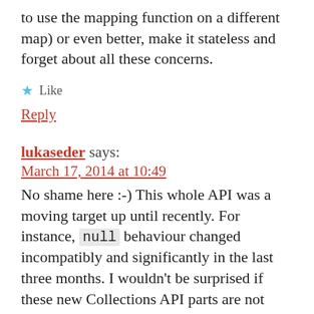to use the mapping function on a different map) or even better, make it stateless and forget about all these concerns.
★ Like
Reply
lukaseder says:
March 17, 2014 at 10:49
No shame here :-) This whole API was a moving target up until recently. For instance, null behaviour changed incompatibly and significantly in the last three months. I wouldn't be surprised if these new Collections API parts are not entirely production-ready yet, or if some implementation